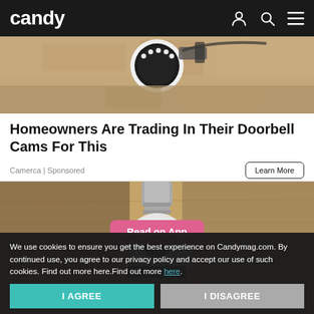candy
[Figure (photo): Closeup of a security camera mounted on a stone/concrete wall, viewed from below]
Homeowners Are Trading In Their Doorbell Cams For This
Camerca | Sponsored
[Figure (photo): A hand holding a white smart light bulb camera device against a wooden ceiling background, with a pink 'Read on App' button overlaid]
We use cookies to ensure you get the best experience on Candymag.com. By continued use, you agree to our privacy policy and accept our use of such cookies. Find out more here.Find out more here.